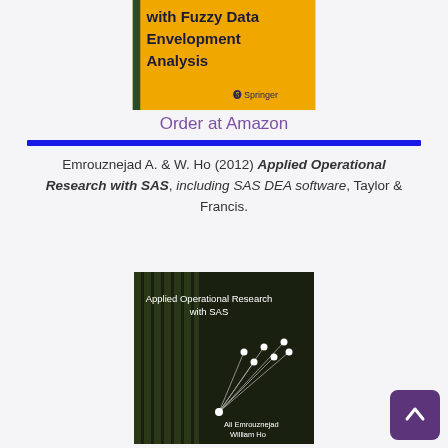[Figure (photo): Top portion of a Springer book cover with yellow background showing 'with Fuzzy Data Envelopment Analysis' and Springer logo]
Order at Amazon
[Figure (illustration): Horizontal blue divider bar]
Emrouznejad A. & W. Ho (2012) Applied Operational Research with SAS, including SAS DEA software, Taylor & Francis.
[Figure (photo): Book cover of 'Applied Operational Research with SAS' by Ali Emrouznejad and William Ho, Taylor & Francis, dark green/black background with network diagram]
[Figure (illustration): Scroll-to-top button with upward arrow, purple rounded square]